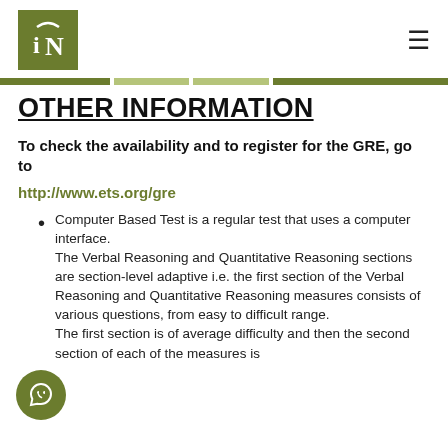iN logo and navigation
OTHER INFORMATION
To check the availability and to register for the GRE, go to
http://www.ets.org/gre
Computer Based Test is a regular test that uses a computer interface.
The Verbal Reasoning and Quantitative Reasoning sections are section-level adaptive i.e. the first section of the Verbal Reasoning and Quantitative Reasoning measures consists of various questions, from easy to difficult range.
The first section is of average difficulty and then the second section of each of the measures is